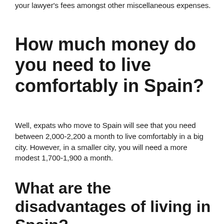your lawyer's fees amongst other miscellaneous expenses.
How much money do you need to live comfortably in Spain?
Well, expats who move to Spain will see that you need between 2,000-2,200 a month to live comfortably in a big city. However, in a smaller city, you will need a more modest 1,700-1,900 a month.
What are the disadvantages of living in Spain?
Missing 'Home'. Certainly a disadvantage to